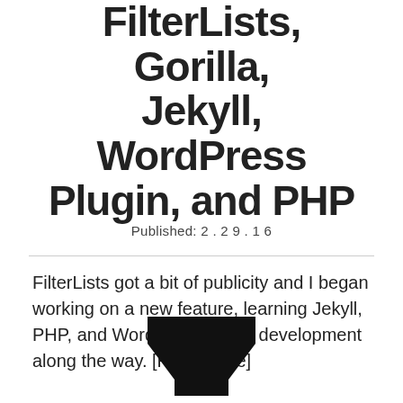FilterLists, Gorilla, Jekyll, WordPress Plugin, and PHP
Published: 2.29.16
FilterLists got a bit of publicity and I began working on a new feature, learning Jekyll, PHP, and WordPress plugin development along the way. [Read More]
[Figure (logo): FilterLists funnel/filter logo icon (black trapezoid funnel shape) with partial text 'FilterLists' below]